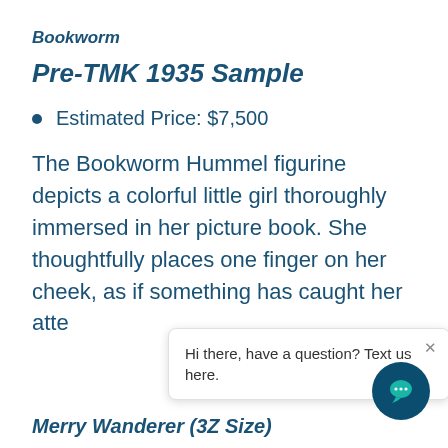Bookworm
Pre-TMK 1935 Sample
Estimated Price: $7,500
The Bookworm Hummel figurine depicts a colorful little girl thoroughly immersed in her picture book. She thoughtfully places one finger on her cheek, as if something has caught her atte
Merry Wanderer (3Z Size)